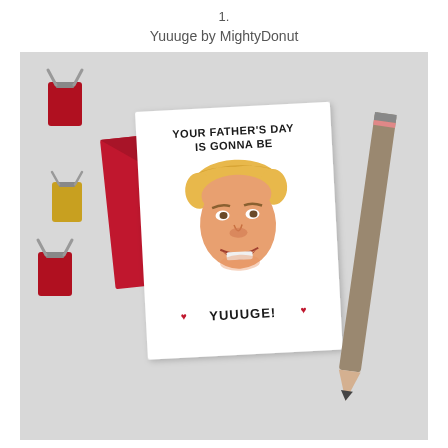1.
Yuuuge by MightyDonut
[Figure (photo): Product photo of a Father's Day greeting card reading 'YOUR FATHER'S DAY IS GONNA BE YUUUGE!' with a caricature of Donald Trump, shown on a gray surface with red binder clips, a yellow binder clip, a red envelope behind the card, and a rustic pencil to the right.]